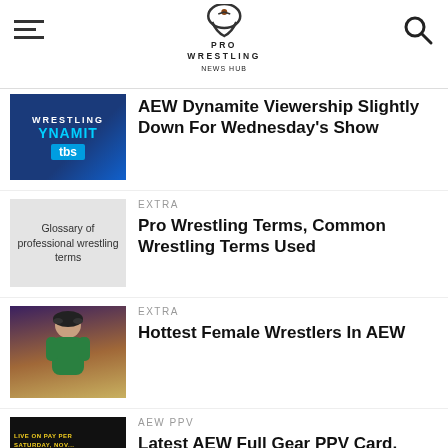PRO WRESTLING NEWS HUB
[Figure (screenshot): AEW Dynamite thumbnail with TBS logo on blue background]
AEW Dynamite Viewership Slightly Down For Wednesday's Show
EXTRA
[Figure (screenshot): Glossary of professional wrestling terms book cover]
Pro Wrestling Terms, Common Wrestling Terms Used
EXTRA
[Figure (photo): Blonde female wrestler wearing sunglasses and teal outfit]
Hottest Female Wrestlers In AEW
AEW PPV
[Figure (screenshot): AEW Full Gear PPV promotional image with event details]
Latest AEW Full Gear PPV Card, Start Time, How To Watch
AEW PPV